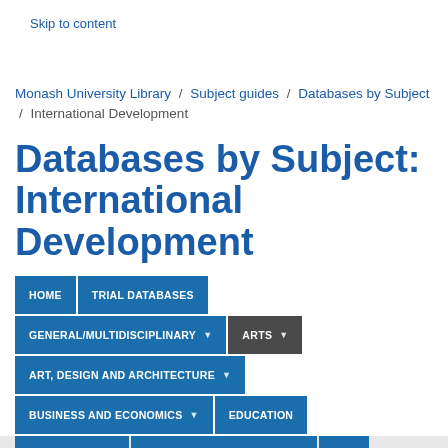Skip to content
Monash University Library / Subject guides / Databases by Subject / International Development
Databases by Subject: International Development
HOME
TRIAL DATABASES
GENERAL/MULTIDISCIPLINARY
ARTS
ART, DESIGN AND ARCHITECTURE
BUSINESS AND ECONOMICS
EDUCATION
ENGINEERING
INFORMATION TECHNOLOGY
LAW
MEDICINE, NURSING AND HEALTH SCIENCES